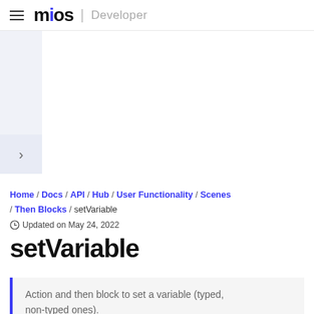mios | Developer
Home / Docs / API / Hub / User Functionality / Scenes / Then Blocks / setVariable
Updated on May 24, 2022
setVariable
Action and then block to set a variable (typed, non-typed ones).